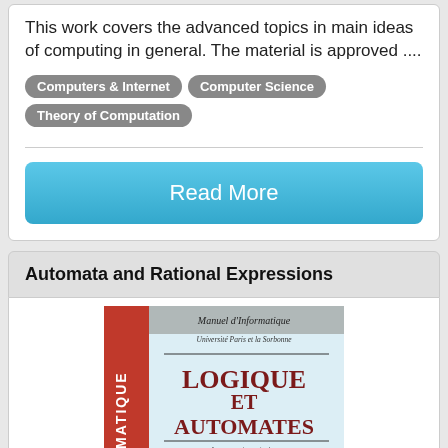This work covers the advanced topics in main ideas of computing in general. The material is approved ....
Computers & Internet
Computer Science
Theory of Computation
Read More
Automata and Rational Expressions
[Figure (photo): Book cover of 'Logique et Automates' from Manuel d'Informatique series, showing title text in dark red/maroon on a light background with the word INFORMATIQUE vertically on the spine]